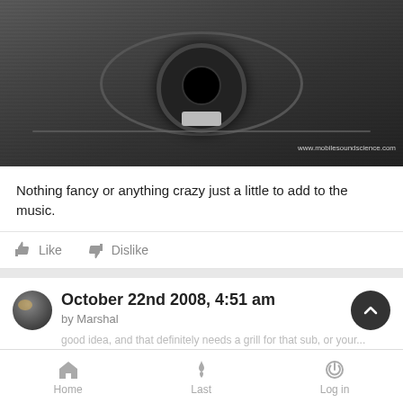[Figure (photo): Photo of a car trunk interior showing a subwoofer speaker installed, viewed from above. The trunk has dark carpeting with a circular speaker cutout. Watermark reads www.mobilesoundscience.com]
Nothing fancy or anything crazy just a little to add to the music.
Like   Dislike
October 22nd 2008, 4:51 am
by Marshal
good idea, and that definitely needs a grill for that sub, or your...